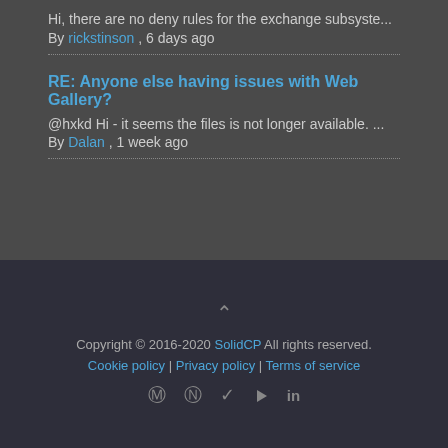Hi, there are no deny rules for the exchange subsyste...
By rickstinson , 6 days ago
RE: Anyone else having issues with Web Gallery?
@hxkd Hi - it seems the files is not longer available. ...
By Dalan , 1 week ago
Copyright © 2016-2020 SolidCP All rights reserved. Cookie policy | Privacy policy | Terms of service